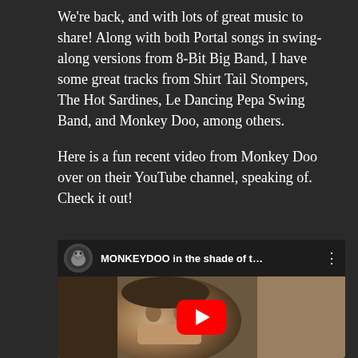We're back, and with lots of great music to share! Along with both Portal songs in swing-along versions from 8-Bit Big Band, I have some great tracks from Shirt Tail Stompers, The Hot Sardines, Le Dancing Pepa Swing Band, and Monkey Doo, among others.
Here is a fun recent video from Monkey Doo over on their YouTube channel, speaking of. Check it out!
[Figure (screenshot): YouTube video embed showing MONKEYDOO channel with video titled 'MONKEYDOO in the shade of t...' with a play button overlay on a thumbnail showing a man's face]